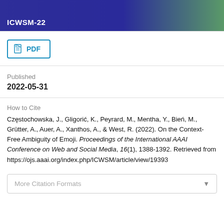[Figure (photo): Banner image showing ICWSM-22 conference logo with blue and green background (tropical scene)]
PDF
Published
2022-05-31
How to Cite
Częstochowska, J., Gligorić, K., Peyrard, M., Mentha, Y., Bień, M., Grütter, A., Auer, A., Xanthos, A., & West, R. (2022). On the Context-Free Ambiguity of Emoji. Proceedings of the International AAAI Conference on Web and Social Media, 16(1), 1388-1392. Retrieved from https://ojs.aaai.org/index.php/ICWSM/article/view/19393
More Citation Formats